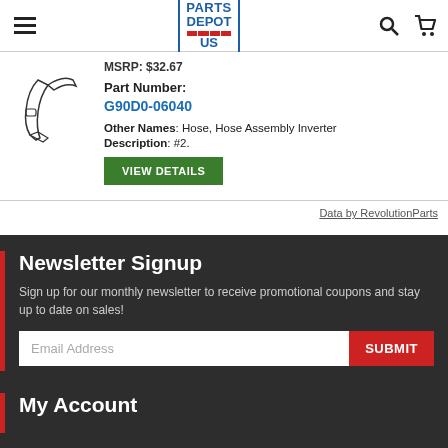[Figure (logo): Parts Depot US logo with blue border and red stripes]
MSRP: $32.67
Part Number: G90D0-06040
Other Names: Hose, Hose Assembly Inverter
Description: #2.
VIEW DETAILS
Data by RevolutionParts
Newsletter Signup
Sign up for our monthly newsletter to receive promotional coupons and stay up to date on sales!
Email Address
SUBMIT
My Account